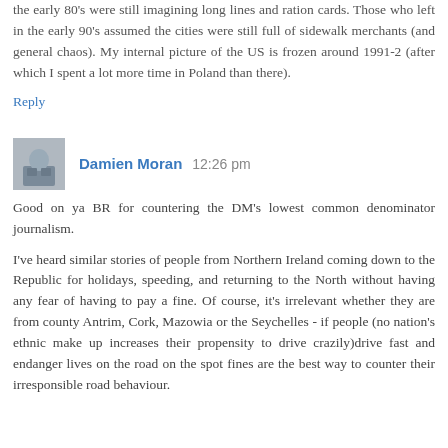the early 80's were still imagining long lines and ration cards. Those who left in the early 90's assumed the cities were still full of sidewalk merchants (and general chaos). My internal picture of the US is frozen around 1991-2 (after which I spent a lot more time in Poland than there).
Reply
Damien Moran  12:26 pm
Good on ya BR for countering the DM's lowest common denominator journalism.
I've heard similar stories of people from Northern Ireland coming down to the Republic for holidays, speeding, and returning to the North without having any fear of having to pay a fine. Of course, it's irrelevant whether they are from county Antrim, Cork, Mazowia or the Seychelles - if people (no nation's ethnic make up increases their propensity to drive crazily)drive fast and endanger lives on the road on the spot fines are the best way to counter their irresponsible road behaviour.